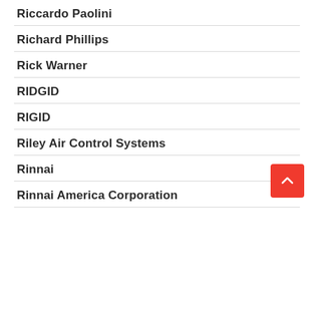Riccardo Paolini
Richard Phillips
Rick Warner
RIDGID
RIGID
Riley Air Control Systems
Rinnai
Rinnai America Corporation